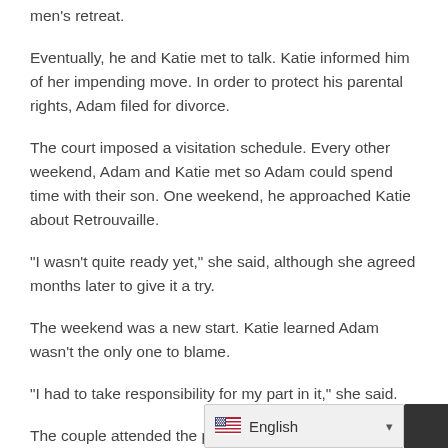men's retreat.
Eventually, he and Katie met to talk. Katie informed him of her impending move. In order to protect his parental rights, Adam filed for divorce.
The court imposed a visitation schedule. Every other weekend, Adam and Katie met so Adam could spend time with their son. One weekend, he approached Katie about Retrouvaille.
“I wasn’t quite ready yet,” she said, although she agreed months later to give it a try.
The weekend was a new start. Katie learned Adam wasn’t the only one to blame.
“I had to take responsibility for my part in it,” she said.
The couple attended the post-weekend sessions and continued to hone their new skil